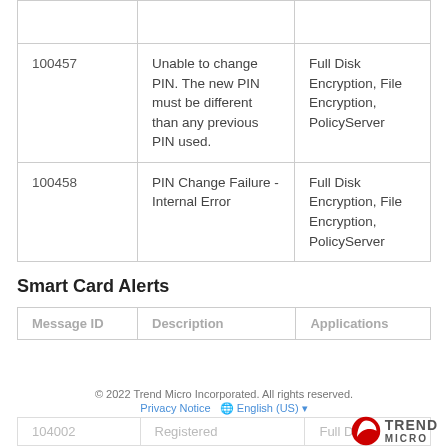|  |  |  |
| --- | --- | --- |
| 100457 | Unable to change PIN. The new PIN must be different than any previous PIN used. | Full Disk Encryption, File Encryption, PolicyServer |
| 100458 | PIN Change Failure - Internal Error | Full Disk Encryption, File Encryption, PolicyServer |
Smart Card Alerts
| Message ID | Description | Applications |
| --- | --- | --- |
| 104002 | Registered | Full Disk |
© 2022 Trend Micro Incorporated. All rights reserved.
Privacy Notice   English (US)